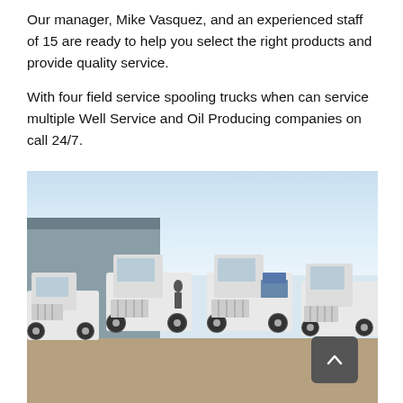Our manager, Mike Vasquez, and an experienced staff of 15 are ready to help you select the right products and provide quality service.
With four field service spooling trucks when can service multiple Well Service and Oil Producing companies on call 24/7.
[Figure (photo): Photograph of four white field service spooling trucks parked in a row in front of an industrial building under a partly cloudy sky.]